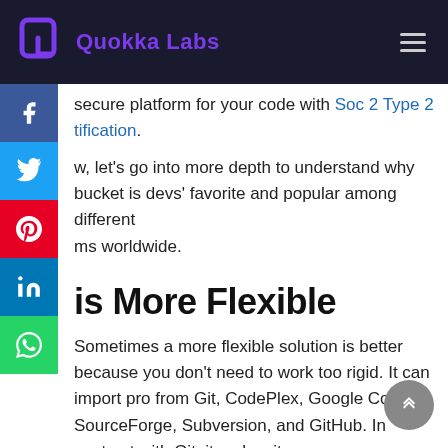Quokka Labs
secure platform for your code with Soc 2 Type 2 certification.
w, let’s go into more depth to understand why bucket is devs’ favorite and popular among different ms worldwide.
is More Flexible
Sometimes a more flexible solution is better because you don’t need to work too rigid. It can import pro from Git, CodePlex, Google Code, SourceForge, Subversion, and GitHub. In contrast with Git, it makes it